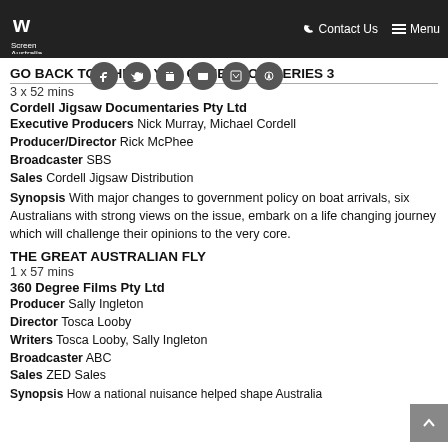Screen Australia — Contact Us — Menu
GO BACK TO WHERE YOU CAME FROM SERIES 3
3 x 52 mins
Cordell Jigsaw Documentaries Pty Ltd
Executive Producers Nick Murray, Michael Cordell
Producer/Director Rick McPhee
Broadcaster SBS
Sales Cordell Jigsaw Distribution
Synopsis With major changes to government policy on boat arrivals, six Australians with strong views on the issue, embark on a life changing journey which will challenge their opinions to the very core.
THE GREAT AUSTRALIAN FLY
1 x 57 mins
360 Degree Films Pty Ltd
Producer Sally Ingleton
Director Tosca Looby
Writers Tosca Looby, Sally Ingleton
Broadcaster ABC
Sales ZED Sales
Synopsis How a national nuisance helped shape Australia...